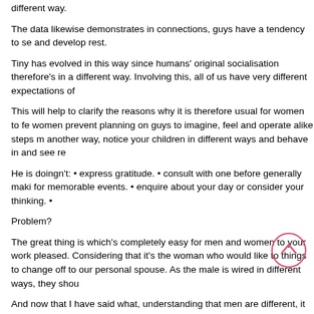different way.
The data likewise demonstrates in connections, guys have a tendency to se and develop rest.
Tiny has evolved in this way since humans' original socialisation therefore's in a different way. Involving this, all of us have very different expectations of
This will help to clarify the reasons why it is therefore usual for women to fe women prevent planning on guys to imagine, feel and operate alike steps m another way, notice your children in different ways and behave in and see re
He is doingn't: • express gratitude. • consult with one before generally maki for memorable events. • enquire about your day or consider your thinking. •
Problem?
The great thing is which's completely easy for men and women to your work pleased. Considering that it's the woman who would like to things to change off to our personal spouse. As the male is wired in different ways, they shou
And now that I have said what, understanding that men are different, it can romance. The question is how? We realize from experience that consistent perform. The good thing is, there's another.
5 advice for enhancing your unsatisfied romance
A lot of men capture negative feedback quite difficult. Although it could co